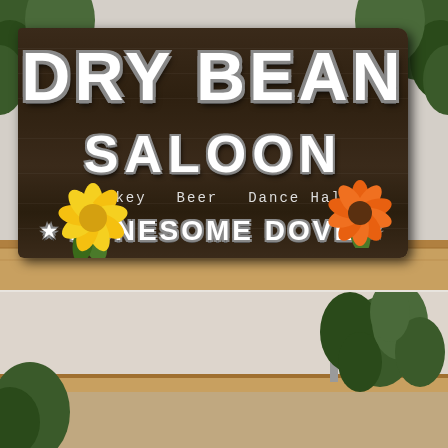[Figure (photo): A rustic wooden sign reading 'DRY BEAN SALOON' with subtitle text 'Whiskey  Beer  Dance Hall' and 'LONESOME DOVE' with stars, placed on a shelf with yellow and orange flowers in front, green plants in background.]
[Figure (photo): Bottom portion of a room showing a shelf with green leafy plants and a light-colored wall in background.]